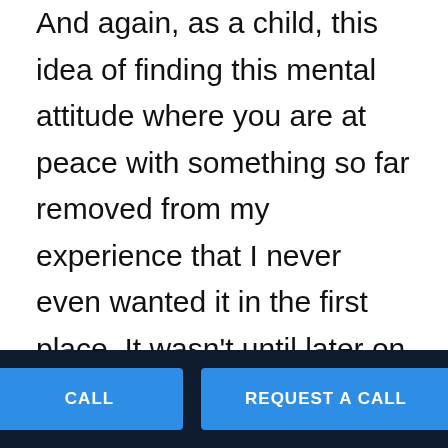And again, as a child, this idea of finding this mental attitude where you are at peace with something so far removed from my experience that I never even wanted it in the first place. It wasn't until later on in life where I started to explore different religions and philosophies and my post-secondary years, where I was introduced to the Janic and Buddhist religions where or spirituality, as some people call them, where mindfulness was a prime component of their overall teachings and from there understanding why people practice mindfulness was a lot more clear for
CALL   REQUEST A CALL